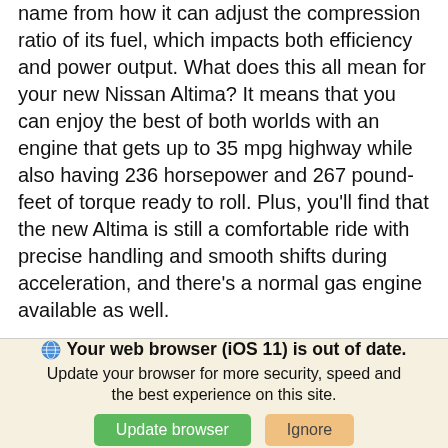name from how it can adjust the compression ratio of its fuel, which impacts both efficiency and power output. What does this all mean for your new Nissan Altima? It means that you can enjoy the best of both worlds with an engine that gets up to 35 mpg highway while also having 236 horsepower and 267 pound-feet of torque ready to roll. Plus, you'll find that the new Altima is still a comfortable ride with precise handling and smooth shifts during acceleration, and there's a normal gas engine available as well.
Captivating Looks and Functional Space
The Nissan Altima is stunning from every angle, as the sleek exterior covers a cabin housing premium
[Figure (screenshot): Browser update notification banner with globe icon, bold text 'Your web browser (iOS 11) is out of date.', subtitle text, and two buttons: green 'Update browser' and orange/tan 'Ignore'.]